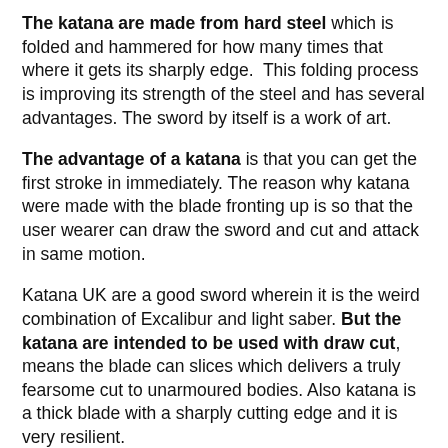The katana are made from hard steel which is folded and hammered for how many times that where it gets its sharply edge. This folding process is improving its strength of the steel and has several advantages. The sword by itself is a work of art.
The advantage of a katana is that you can get the first stroke in immediately. The reason why katana were made with the blade fronting up is so that the user wearer can draw the sword and cut and attack in same motion.
Katana UK are a good sword wherein it is the weird combination of Excalibur and light saber. But the katana are intended to be used with draw cut, means the blade can slices which delivers a truly fearsome cut to unarmoured bodies. Also katana is a thick blade with a sharply cutting edge and it is very resilient.
The Japanese Katana VS. The European